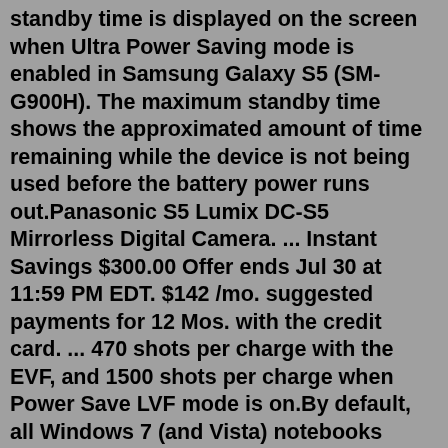standby time is displayed on the screen when Ultra Power Saving mode is enabled in Samsung Galaxy S5 (SM-G900H). The maximum standby time shows the approximated amount of time remaining while the device is not being used before the battery power runs out.Panasonic S5 Lumix DC-S5 Mirrorless Digital Camera. ... Instant Savings $300.00 Offer ends Jul 30 at 11:59 PM EDT. $142 /mo. suggested payments for 12 Mos. with the credit card. ... 470 shots per charge with the EVF, and 1500 shots per charge when Power Save LVF mode is on.By default, all Windows 7 (and Vista) notebooks come with three power plans: High Performance, Balanced, and Power Saver. Some manufacturers, such as HP, Samsung, and Toshiba, include custom power proI changed my default messaging application to GoSMS and deactivated the standard messaging app. Then when in Ultra Power Save screen i accidentally removed the Messaging Icon. Now when i go to the + to Add application where Messaging used to be Messaging is not in my